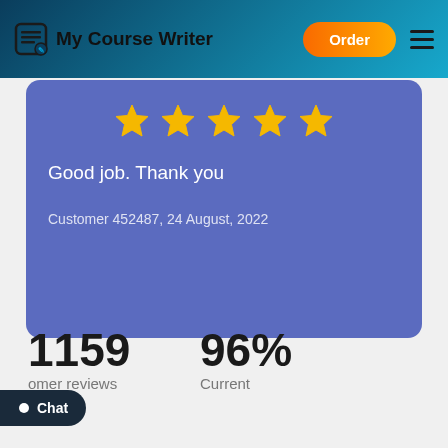My Course Writer | Order
[Figure (other): Review card with 5 gold stars, review text 'Good job. Thank you', and customer attribution 'Customer 452487, 24 August, 2022' on a purple/indigo card background]
Good job. Thank you
Customer 452487, 24 August, 2022
1159
Customer reviews
96%
Current